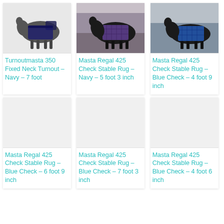[Figure (photo): Horse wearing a navy fixed neck turnout rug]
Turnoutmasta 350 Fixed Neck Turnout – Navy – 7 foot
[Figure (photo): Horse wearing a navy check stable rug outdoors]
Masta Regal 425 Check Stable Rug – Navy – 5 foot 3 inch
[Figure (photo): Horse wearing a blue check stable rug outdoors]
Masta Regal 425 Check Stable Rug – Blue Check – 4 foot 9 inch
[Figure (photo): Product image placeholder - blue check stable rug]
Masta Regal 425 Check Stable Rug – Blue Check – 6 foot 9 inch
[Figure (photo): Product image placeholder - blue check stable rug]
Masta Regal 425 Check Stable Rug – Blue Check – 7 foot 3 inch
[Figure (photo): Product image placeholder - blue check stable rug]
Masta Regal 425 Check Stable Rug – Blue Check – 4 foot 6 inch